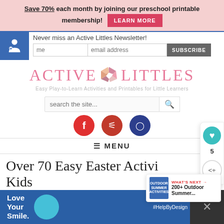Save 70% each month by joining our preschool printable membership! LEARN MORE
Never miss an Active Littles Newsletter!
[Figure (logo): Active Littles logo with pinwheel graphic in pink, with tagline: Easy Play-to-Learn Activities and Printables for Little Learners]
search the site...
[Figure (infographic): Social media icons for Facebook (red circle), Pinterest (red circle), and Instagram (blue circle)]
≡ MENU
Over 70 Easy Easter Activities for Kids
[Figure (infographic): Advertisement banner at bottom: Love Your Smile with mask graphic and #HelpByDesign tag]